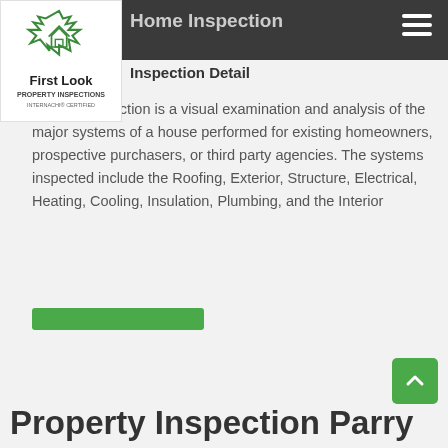Home Inspection
[Figure (logo): First Look Property Inspections logo with maple leaf and house outline, InterNACHI Certified]
Inspection Detail
A home inspection is a visual examination and analysis of the major systems of a house performed for existing homeowners, prospective purchasers, or third party agencies. The systems inspected include the Roofing, Exterior, Structure, Electrical, Heating, Cooling, Insulation, Plumbing, and the Interior
[Figure (other): Green rectangular button/bar]
[Figure (other): Green back-to-top arrow button in bottom right corner]
Property Inspection Parry